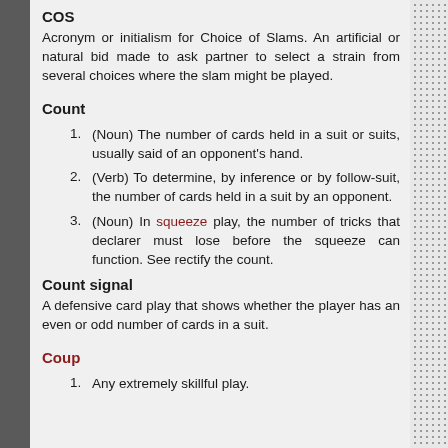COS
Acronym or initialism for Choice of Slams. An artificial or natural bid made to ask partner to select a strain from several choices where the slam might be played.
Count
(Noun) The number of cards held in a suit or suits, usually said of an opponent's hand.
(Verb) To determine, by inference or by follow-suit, the number of cards held in a suit by an opponent.
(Noun) In squeeze play, the number of tricks that declarer must lose before the squeeze can function. See rectify the count.
Count signal
A defensive card play that shows whether the player has an even or odd number of cards in a suit.
Coup
Any extremely skillful play.